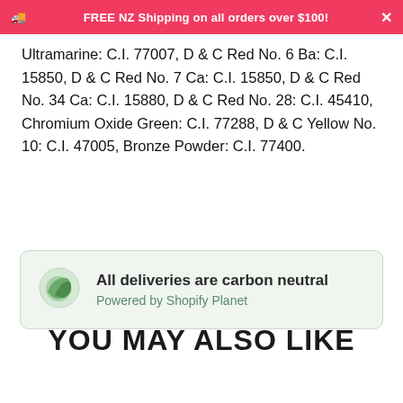🚚 FREE NZ Shipping on all orders over $100!
Ultramarine: C.I. 77007, D & C Red No. 6 Ba: C.I. 15850, D & C Red No. 7 Ca: C.I. 15850, D & C Red No. 34 Ca: C.I. 15880, D & C Red No. 28: C.I. 45410, Chromium Oxide Green: C.I. 77288, D & C Yellow No. 10: C.I. 47005, Bronze Powder: C.I. 77400.
[Figure (illustration): Green leaf/planet circular logo for Shopify Planet carbon neutral deliveries badge]
All deliveries are carbon neutral
Powered by Shopify Planet
YOU MAY ALSO LIKE